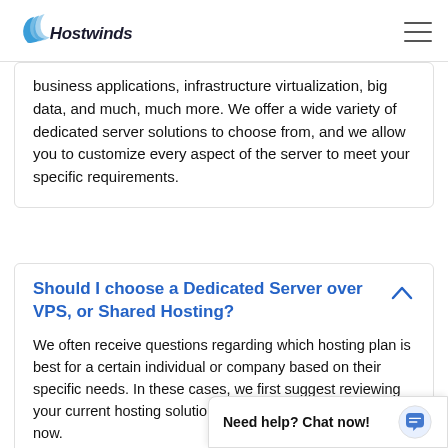Hostwinds
business applications, infrastructure virtualization, big data, and much, much more. We offer a wide variety of dedicated server solutions to choose from, and we allow you to customize every aspect of the server to meet your specific requirements.
Should I choose a Dedicated Server over VPS, or Shared Hosting?
We often receive questions regarding which hosting plan is best for a certain individual or company based on their specific needs. In these cases, we first suggest reviewing your current hosting solution and how it is working for you now.
Is it too slow? Is you... changes based on th...